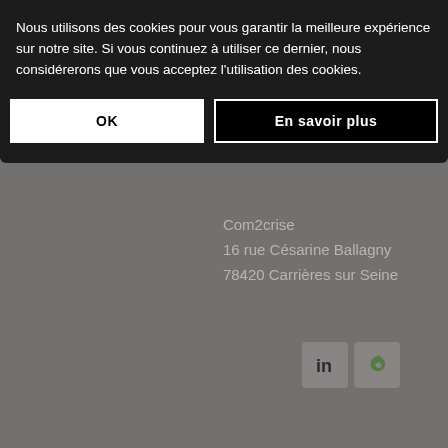Nous utilisons des cookies pour vous garantir la meilleure expérience sur notre site. Si vous continuez à utiliser ce dernier, nous considérerons que vous acceptez l'utilisation des cookies.
OK
En savoir plus
Com2crise
16 rue Césarine Ballagny
78420 Carrières sur Seine
[Figure (logo): LinkedIn social media icon and a green leaf/viadeo-style social icon]